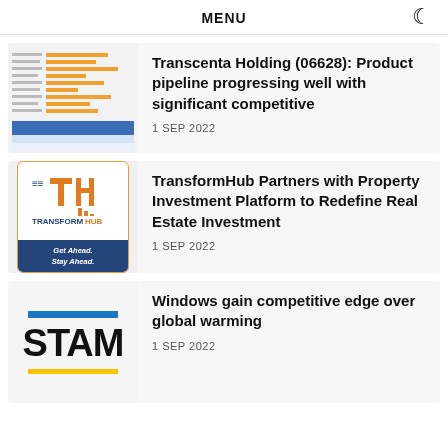MENU
[Figure (screenshot): Thumbnail of a research report with orange horizontal bar chart and a blue table below]
Transcenta Holding (06628): Product pipeline progressing well with significant competitive
1 SEP 2022
[Figure (logo): TransformHub logo with orange and navy colors. Text: TRANSFORMHUB, Get Ahead. Stay Ahead.]
TransformHub Partners with Property Investment Platform to Redefine Real Estate Investment
1 SEP 2022
[Figure (logo): STAM logo with blue bar on top, bold STAM text, yellow bar on bottom]
Windows gain competitive edge over global warming
1 SEP 2022